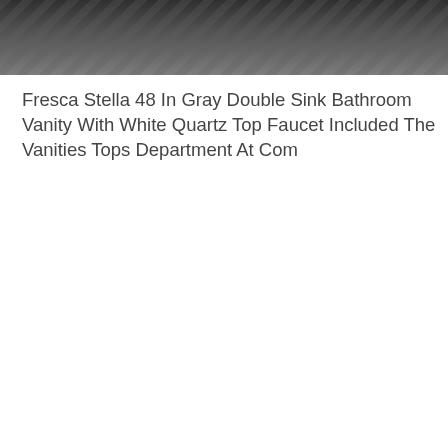[Figure (photo): Photograph of a bathroom vanity — Fresca Stella 48 in gray double sink bathroom vanity with white quartz top, shown on a herringbone-patterned floor with folded towels visible.]
Fresca Stella 48 In Gray Double Sink Bathroom Vanity With White Quartz Top Faucet Included The Vanities Tops Department At Com